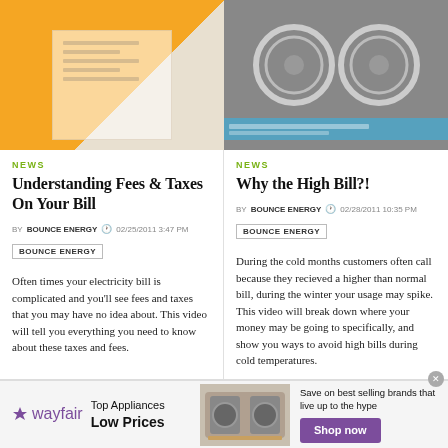[Figure (photo): Orange and white utility bill document thumbnail]
[Figure (photo): Grey washing machine drums photo with blue caption bar]
NEWS
Understanding Fees & Taxes On Your Bill
BY BOUNCE ENERGY  02/25/2011 3:47 PM
BOUNCE ENERGY
Often times your electricity bill is complicated and you'll see fees and taxes that you may have no idea about. This video will tell you everything you need to know about these taxes and fees.
NEWS
Why the High Bill?!
BY BOUNCE ENERGY  02/28/2011 10:35 PM
BOUNCE ENERGY
During the cold months customers often call because they recieved a higher than normal bill, during the winter your usage may spike. This video will break down where your money may be going to specifically, and show you ways to avoid high bills during cold temperatures.
[Figure (photo): Wayfair advertisement banner with appliance image and Shop now button]